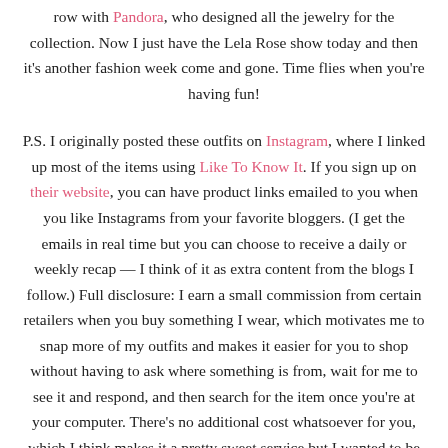row with Pandora, who designed all the jewelry for the collection. Now I just have the Lela Rose show today and then it's another fashion week come and gone. Time flies when you're having fun!
P.S. I originally posted these outfits on Instagram, where I linked up most of the items using Like To Know It. If you sign up on their website, you can have product links emailed to you when you like Instagrams from your favorite bloggers. (I get the emails in real time but you can choose to receive a daily or weekly recap — I think of it as extra content from the blogs I follow.) Full disclosure: I earn a small commission from certain retailers when you buy something I wear, which motivates me to snap more of my outfits and makes it easier for you to shop without having to ask where something is from, wait for me to see it and respond, and then search for the item once you're at your computer. There's no additional cost whatsoever for you, which I think makes it a pretty sweet service but I wanted to be totally transparent with you, the lovely people who make Design Darling possible. It's weeks like this one that remind me how lucky I